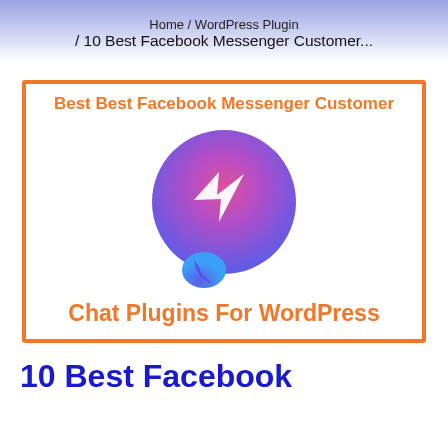Home / WordPress Plugin / 10 Best Facebook Messenger Customer...
[Figure (illustration): Orange-bordered box containing text 'Best Best Facebook Messenger Customer' at top in orange bold, a Facebook Messenger logo icon (gradient purple-to-pink circle with white lightning bolt chat symbol), and text 'Chat Plugins For WordPress' at bottom in orange bold.]
10 Best Facebook